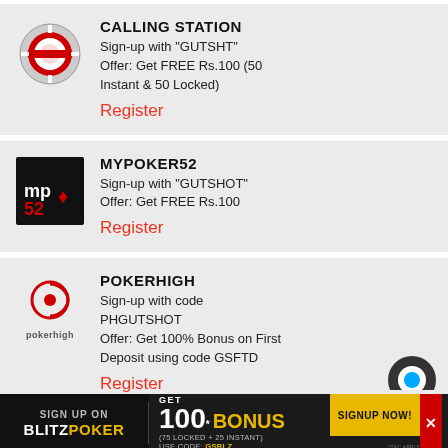CALLING STATION
Sign-up with "GUTSHT"
Offer: Get FREE Rs.100 (50 Instant & 50 Locked)
Register
MYPOKER52
Sign-up with "GUTSHOT"
Offer: Get FREE Rs.100
Register
POKERHIGH
Sign-up with code PHGUTSHOT
Offer: Get 100% Bonus on First Deposit using code GSFTD
Register
[Figure (infographic): BlitzPoker ad banner: Sign up on BlitzPoker, Get 100* BONUS (75 LOCKED + 25 INSTANT), USE CODE: GSBLZ, SIGNUP NOW!]